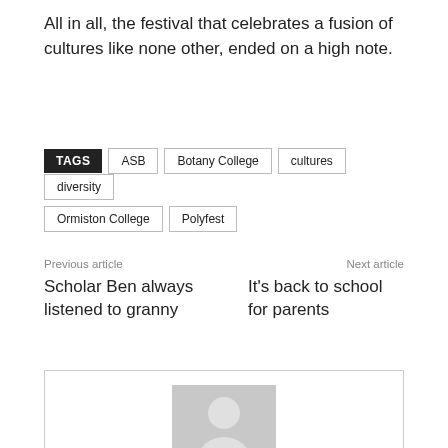All in all, the festival that celebrates a fusion of cultures like none other, ended on a high note.
TAGS  ASB  Botany College  cultures  diversity  Ormiston College  Polyfest
Previous article
Scholar Ben always listened to granny
Next article
It's back to school for parents
[Figure (illustration): Author avatar placeholder — grey square with a white person silhouette icon]
Farida Master